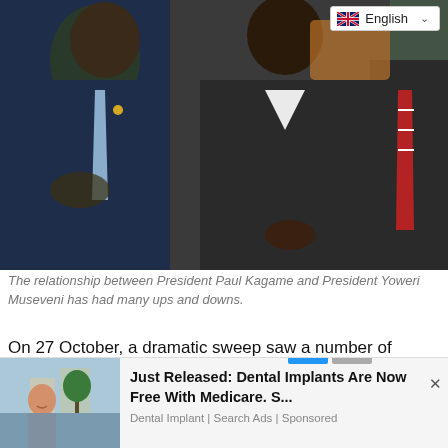[Figure (photo): Two men in suits standing together at an event. The man on the left wears a dark navy suit with a light blue tie, the man in the center wears a dark suit with a yellow tie, and on the right edge is another figure with a red striped tie. A UK flag and 'English' language selector badge appears in the upper right corner.]
The relationship between President Paul Kagame and President Yoweri Museveni has had many ups and downs.
On 27 October, a dramatic sweep saw a number of senior Ugandan police officers arrested on suspicion of being part of a Rwandan sleeper cell. The Chieftaincy of Military
[Figure (photo): Advertisement showing a smiling woman outdoors next to text: 'Just Released: Dental Implants Are Now Free With Medicare. S...' from Dental Implant | Search Ads | Sponsored]